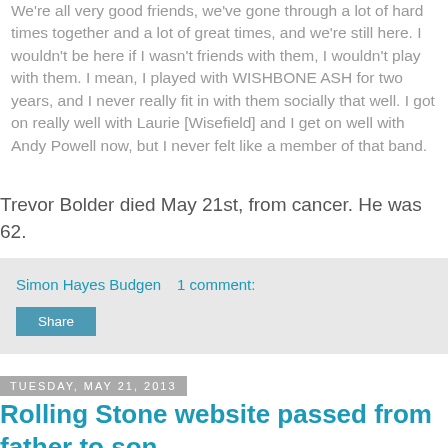We're all very good friends, we've gone through a lot of hard times together and a lot of great times, and we're still here. I wouldn't be here if I wasn't friends with them, I wouldn't play with them. I mean, I played with WISHBONE ASH for two years, and I never really fit in with them socially that well. I got on really well with Laurie [Wisefield] and I get on well with Andy Powell now, but I never felt like a member of that band.
Trevor Bolder died May 21st, from cancer. He was 62.
Simon Hayes Budgen     1 comment:
Share
Tuesday, May 21, 2013
Rolling Stone website passed from father to son